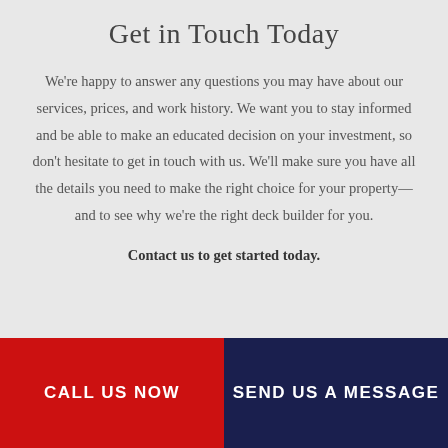Get in Touch Today
We're happy to answer any questions you may have about our services, prices, and work history. We want you to stay informed and be able to make an educated decision on your investment, so don't hesitate to get in touch with us. We'll make sure you have all the details you need to make the right choice for your property—and to see why we're the right deck builder for you.
Contact us to get started today.
CALL US NOW
SEND US A MESSAGE